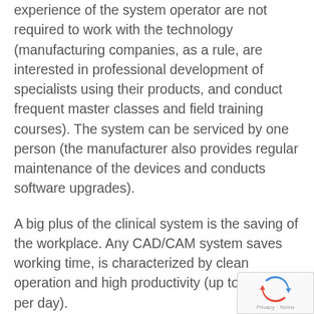experience of the system operator are not required to work with the technology (manufacturing companies, as a rule, are interested in professional development of specialists using their products, and conduct frequent master classes and field training courses). The system can be serviced by one person (the manufacturer also provides regular maintenance of the devices and conducts software upgrades).
A big plus of the clinical system is the saving of the workplace. Any CAD/CAM system saves working time, is characterized by clean operation and high productivity (up to 120 units per day).